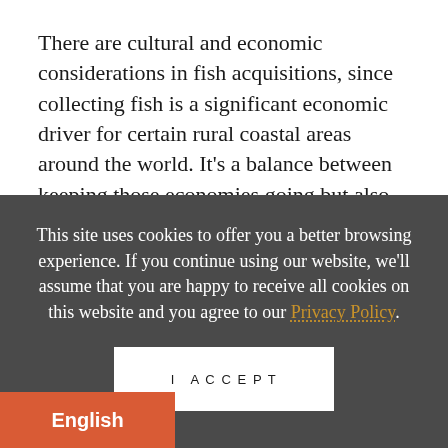There are cultural and economic considerations in fish acquisitions, since collecting fish is a significant economic driver for certain rural coastal areas around the world. It’s a balance between keeping those economies going but also working with people to make sure they’re using the most responsible and sustainable practices
This site uses cookies to offer you a better browsing experience. If you continue using our website, we'll assume that you are happy to receive all cookies on this website and you agree to our Privacy Policy.
I ACCEPT
English